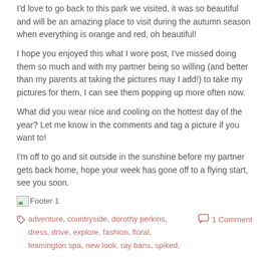I'd love to go back to this park we visited, it was so beautiful and will be an amazing place to visit during the autumn season when everything is orange and red, oh beautiful!
I hope you enjoyed this what I wore post, I've missed doing them so much and with my partner being so willing (and better than my parents at taking the pictures may I add!) to take my pictures for them, I can see them popping up more often now.
What did you wear nice and cooling on the hottest day of the year? Let me know in the comments and tag a picture if you want to!
I'm off to go and sit outside in the sunshine before my partner gets back home, hope your week has gone off to a flying start, see you soon.
[Figure (other): Footer 1 image placeholder with broken image icon]
adventure, countryside, dorothy perkins, dress, drive, explore, fashion, floral, leamington spa, new look, ray bans, spiked,  1 Comment